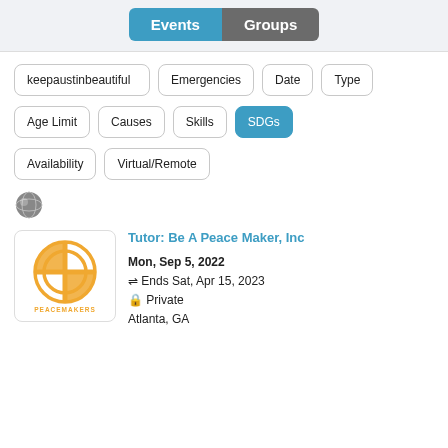[Figure (screenshot): Tab toggle UI with 'Events' (blue/active) and 'Groups' (gray) buttons]
keepaustinbeautiful
Emergencies
Date
Type
Age Limit
Causes
Skills
SDGs
Availability
Virtual/Remote
[Figure (illustration): Globe/world icon]
[Figure (logo): Peacemakers circular logo in orange/gold]
Tutor: Be A Peace Maker, Inc
Mon, Sep 5, 2022 ⇌ Ends Sat, Apr 15, 2023 🔒 Private Atlanta, GA